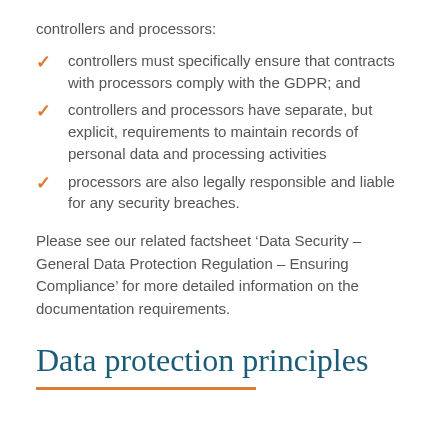controllers and processors:
controllers must specifically ensure that contracts with processors comply with the GDPR; and
controllers and processors have separate, but explicit, requirements to maintain records of personal data and processing activities
processors are also legally responsible and liable for any security breaches.
Please see our related factsheet ‘Data Security – General Data Protection Regulation – Ensuring Compliance’ for more detailed information on the documentation requirements.
Data protection principles